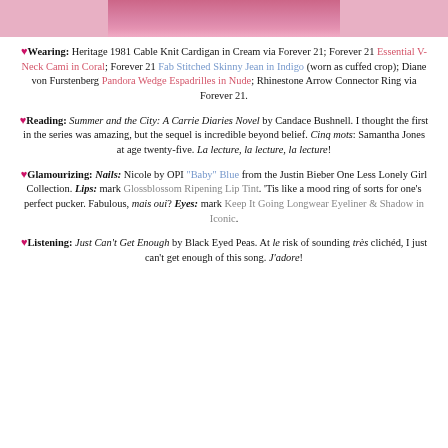[Figure (photo): Partial photo of a person wearing a pink/cream knit cardigan, cropped at the top of the page]
♥Wearing: Heritage 1981 Cable Knit Cardigan in Cream via Forever 21; Forever 21 Essential V-Neck Cami in Coral; Forever 21 Fab Stitched Skinny Jean in Indigo (worn as cuffed crop); Diane von Furstenberg Pandora Wedge Espadrilles in Nude; Rhinestone Arrow Connector Ring via Forever 21.
♥Reading: Summer and the City: A Carrie Diaries Novel by Candace Bushnell. I thought the first in the series was amazing, but the sequel is incredible beyond belief. Cinq mots: Samantha Jones at age twenty-five. La lecture, la lecture, la lecture!
♥Glamourizing: Nails: Nicole by OPI "Baby" Blue from the Justin Bieber One Less Lonely Girl Collection. Lips: mark Glossblossom Ripening Lip Tint. 'Tis like a mood ring of sorts for one's perfect pucker. Fabulous, mais oui? Eyes: mark Keep It Going Longwear Eyeliner & Shadow in Iconic.
♥Listening: Just Can't Get Enough by Black Eyed Peas. At le risk of sounding très clichéd, I just can't get enough of this song. J'adore!